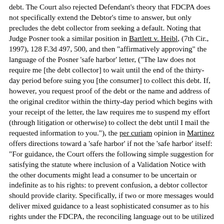debt. The Court also rejected Defendant's theory that FDCPA does not specifically extend the Debtor's time to answer, but only precludes the debt collector from seeking a default. Noting that Judge Posner took a similar position in Bartlett v. Heibl, (7th Cir., 1997), 128 F.3d 497, 500, and then "affirmatively approving" the language of the Posner 'safe harbor' letter, ("The law does not require me [the debt collector] to wait until the end of the thirty-day period before suing you [the consumer] to collect this debt. If, however, you request proof of the debt or the name and address of the original creditor within the thirty-day period which begins with your receipt of the letter, the law requires me to suspend my effort (through litigation or otherwise) to collect the debt until I mail the requested information to you."), the per curiam opinion in Martinez offers directions toward a 'safe harbor' if not the 'safe harbor' itself: "For guidance, the Court offers the following simple suggestion for satisfying the statute where inclusion of a Validation Notice with the other documents might lead a consumer to be uncertain or indefinite as to his rights: to prevent confusion, a debtor collector should provide clarity. Specifically, if two or more messages would deliver mixed guidance to a least sophisticated consumer as to his rights under the FDCPA, the reconciling language out to be utilized to provide effective notice." Quoting the United States Supreme Court, "It does not seem unfair to require that one who deliberately goes perilously close to an area of proscribed conduct shall take the risk that he may cross the line", the decision notes that "The Defendant [here] elected to do ...